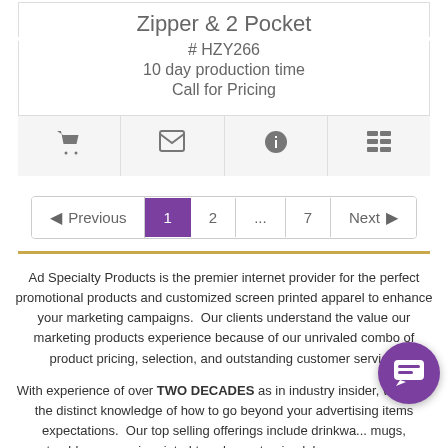Zipper & 2 Pocket
# HZY266
10 day production time
Call for Pricing
[Figure (infographic): Icon toolbar with shopping cart, email, info, and list icons in a horizontal bar with light grey background]
[Figure (infographic): Pagination control with Previous arrow, pages 1 (active/purple), 2, ..., 7, and Next arrow]
Ad Specialty Products is the premier internet provider for the perfect promotional products and customized screen printed apparel to enhance your marketing campaigns.  Our clients understand the value our marketing products experience because of our unrivaled combo of product pricing, selection, and outstanding customer service.
With experience of over TWO DECADES as in industry insider, we have the distinct knowledge of how to go beyond your advertising items expectations.  Our top selling offerings include drinkware mugs, tumblers, cups, imprinted towels, customized  logo p... screen printed/embroidered t-shirts and other clothing.  As you peruse our website, you will most likely take note that we sell, in some cases...